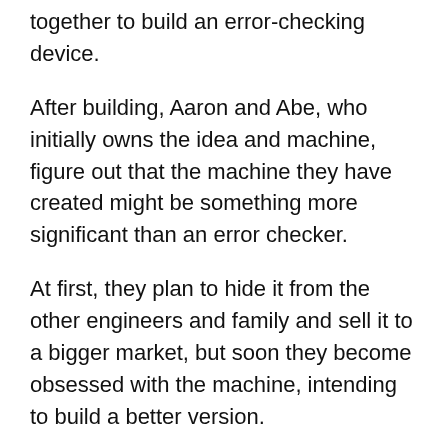together to build an error-checking device.
After building, Aaron and Abe, who initially owns the idea and machine, figure out that the machine they have created might be something more significant than an error checker.
At first, they plan to hide it from the other engineers and family and sell it to a bigger market, but soon they become obsessed with the machine, intending to build a better version.
To do this, they hold risky experiments to show themselves how far they’ve gotten. They soon start to realize the consequences of their actions when things begin to go dark.